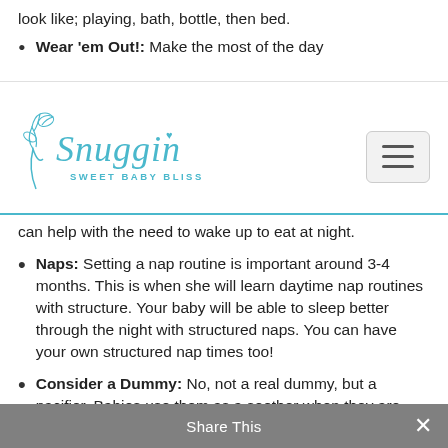look like; playing, bath, bottle, then bed.
Wear 'em Out!: Make the most of the day
[Figure (logo): Snuggin Sweet Baby Bliss logo in teal/blue script font]
can help with the need to wake up to eat at night.
Naps: Setting a nap routine is important around 3-4 months. This is when she will learn daytime nap routines with structure. Your baby will be able to sleep better through the night with structured naps. You can have your own structured nap times too!
Consider a Dummy: No, not a real dummy, but a pacifier. Babies use them as a soother when they are little, but then don't need to rely on them as much as they get older.
Share This